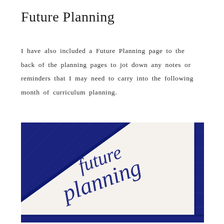Future Planning
I have also included a Future Planning page to the back of the planning pages to jot down any notes or reminders that I may need to carry into the following month of curriculum planning.
[Figure (photo): A close-up photograph of a planner/notebook with a blue ribbon bookmark and 'future planning' written in decorative blue calligraphy script on white paper.]